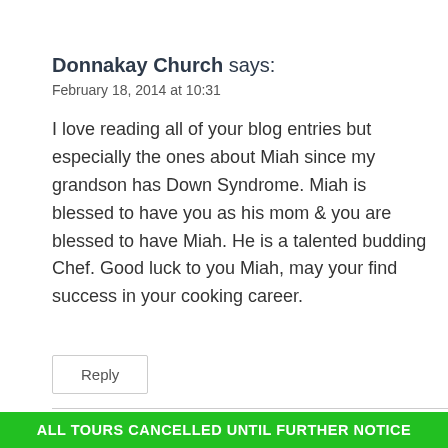Donnakay Church says:
February 18, 2014 at 10:31
I love reading all of your blog entries but especially the ones about Miah since my grandson has Down Syndrome. Miah is blessed to have you as his mom & you are blessed to have Miah. He is a talented budding Chef. Good luck to you Miah, may your find success in your cooking career.
Reply
[Figure (logo): reCAPTCHA logo icon]
ALL TOURS CANCELLED UNTIL FURTHER NOTICE